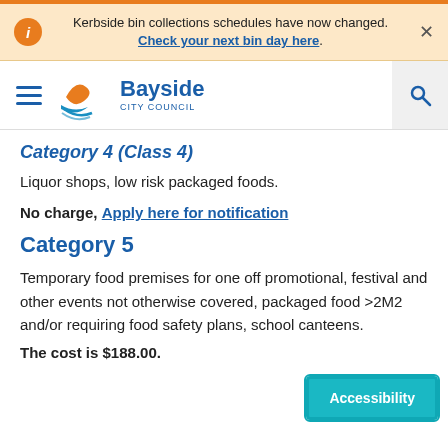Kerbside bin collections schedules have now changed. Check your next bin day here.
[Figure (logo): Bayside City Council logo with hamburger menu and search icon]
Category 4 (Class 4)
Liquor shops, low risk packaged foods.
No charge, Apply here for notification
Category 5
Temporary food premises for one off promotional, festival and other events not otherwise covered, packaged food >2M2 and/or requiring food safety plans, school canteens.
The cost is $188.00.